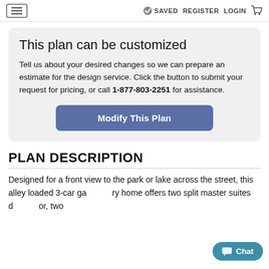≡  ✓ SAVED  REGISTER  LOGIN  🛒
This plan can be customized
Tell us about your desired changes so we can prepare an estimate for the design service. Click the button to submit your request for pricing, or call 1-877-803-2251 for assistance.
Modify This Plan
PLAN DESCRIPTION
Designed for a front view to the park or lake across the street, this alley loaded 3-car garage luxury home offers two split master suites and more, two